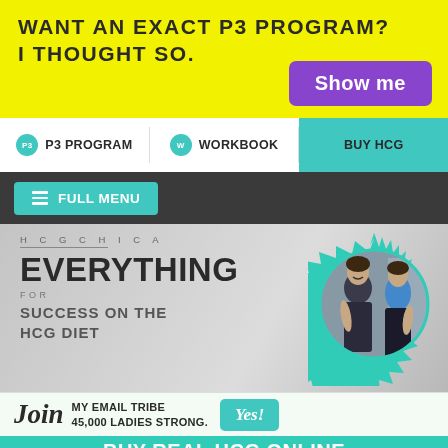WANT AN EXACT P3 PROGRAM? I THOUGHT SO.
Show me
P3 PROGRAM
WORKBOOK
BUY HCG
FULL MENU
[Figure (photo): Two women in fitness attire, one in dark tank top facing forward, one in blue sports bra from behind, shown in circular starburst frame with teal border]
HCGCHICA
EVERYTHING
FOR
SUCCESS ON THE HCG DIET
Join MY EMAIL TRIBE 45,000 LADIES STRONG.
Yes!
BUY REAL HCG ONLINE or the NEW HCG ALTERNATIVE WAYT-LESS